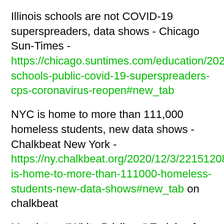Illinois schools are not COVID-19 superspreaders, data shows - Chicago Sun-Times - https://chicago.suntimes.com/education/2020/12/3/22151522/illinois-schools-public-covid-19-superspreaders-cps-coronavirus-reopen#new_tab
NYC is home to more than 111,000 homeless students, new data shows - Chalkbeat New York - https://ny.chalkbeat.org/2020/12/3/22151208/nyc-is-home-to-more-than-111000-homeless-students-new-data-shows#new_tab on chalkbeat
Mandatory "White Privilege" Training for San Diego Teachers - Christopher F. Rufo - https://christopherrufo.com/?p=863
Schools or bars? How nations rank education in pandemic priorities. - CSMonitor.com - https://www.csmonitor.com/USA/Education/2020/1